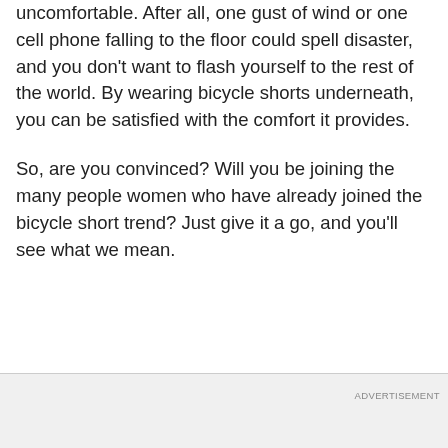uncomfortable. After all, one gust of wind or one cell phone falling to the floor could spell disaster, and you don't want to flash yourself to the rest of the world. By wearing bicycle shorts underneath, you can be satisfied with the comfort it provides.
So, are you convinced? Will you be joining the many people women who have already joined the bicycle short trend? Just give it a go, and you'll see what we mean.
ADVERTISEMENT